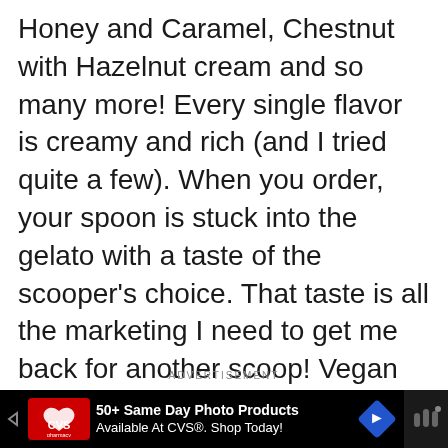Honey and Caramel, Chestnut with Hazelnut cream and so many more! Every single flavor is creamy and rich (and I tried quite a few). When you order, your spoon is stuck into the gelato with a taste of the scooper's choice. That taste is all the marketing I need to get me back for another scoop! Vegan and dairy-free friends, this shop won't let you down. From refreshing sorbets like watermelon and mint to creamy dark chocolate sorbet and soy caramel cookies, you're sure to be satisfied! If you're sugar-free (I'm sorry), Anita Tel Aviv has sugar free ice cream too!
ADVERTISEMENT
[Figure (other): CVS Pharmacy advertisement banner: '50+ Same Day Photo Products Available At CVS®. Shop Today!' with CVS pharmacy logo, navigation arrow, and blue diamond icon on black background]